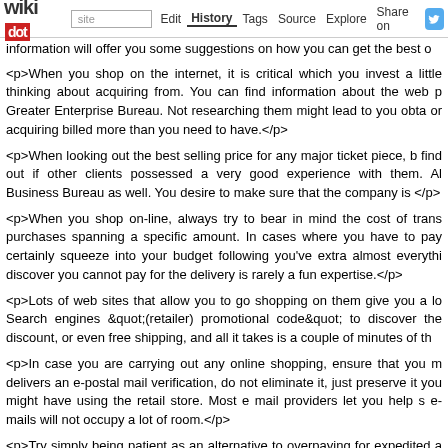wikidot | site | Edit | History | Tags | Source | Explore | Share on [Twitter]
information will offer you some suggestions on how you can get the best o
<p>When you shop on the internet, it is critical which you invest a little thinking about acquiring from. You can find information about the web p Greater Enterprise Bureau. Not researching them might lead to you obta or acquiring billed more than you need to have.</p>
<p>When looking out the best selling price for any major ticket piece, b find out if other clients possessed a very good experience with them. Al Business Bureau as well. You desire to make sure that the company is </p>
<p>When you shop on-line, always try to bear in mind the cost of trans purchases spanning a specific amount. In cases where you have to pay certainly squeeze into your budget following you've extra almost everythi discover you cannot pay for the delivery is rarely a fun expertise.</p>
<p>Lots of web sites that allow you to go shopping on them give you a lo Search engines &quot;(retailer) promotional code&quot; to discover the discount, or even free shipping, and all it takes is a couple of minutes of th
<p>In case you are carrying out any online shopping, ensure that you m delivers an e-postal mail verification, do not eliminate it, just preserve it you might have using the retail store. Most e mail providers let you help s e-mails will not occupy a lot of room.</p>
<p>Try simply being patient as an alternative to overpaying for expedited a deal with only regular shipping and delivery mainly because it definitel door. When you are individual and waiting around a couple of days, you s